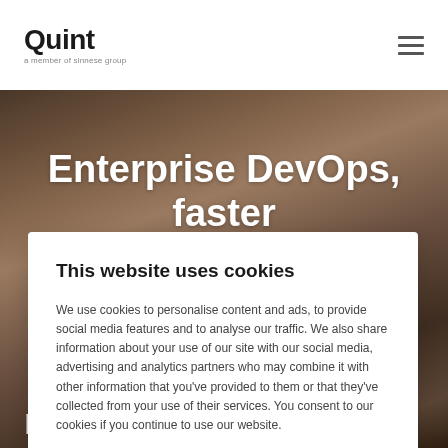[Figure (logo): Quint logo with tagline 'a member of sinnese group']
[Figure (photo): Background hero image of people in a warehouse/office environment, dark toned]
Enterprise DevOps, faster better and smarter
This website uses cookies
We use cookies to personalise content and ads, to provide social media features and to analyse our traffic. We also share information about your use of our site with our social media, advertising and analytics partners who may combine it with other information that you've provided to them or that they've collected from your use of their services. You consent to our cookies if you continue to use our website.